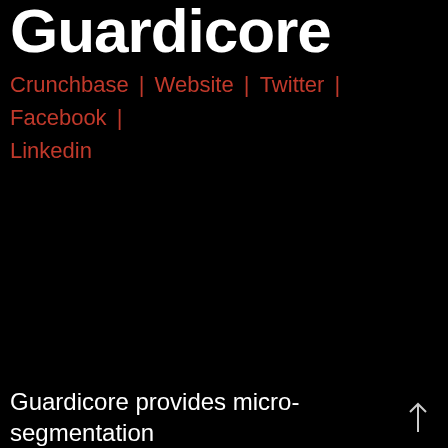Guardicore
Crunchbase | Website | Twitter | Facebook | Linkedin
Guardicore provides micro-segmentation